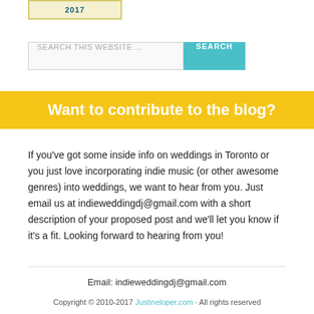[Figure (logo): Website logo banner image at top]
SEARCH THIS WEBSITE …
Want to contribute to the blog?
If you've got some inside info on weddings in Toronto or you just love incorporating indie music (or other awesome genres) into weddings, we want to hear from you. Just email us at indieweddingdj@gmail.com with a short description of your proposed post and we'll let you know if it's a fit. Looking forward to hearing from you!
Email: indieweddingdj@gmail.com
Copyright © 2010-2017 …  All rights reserved